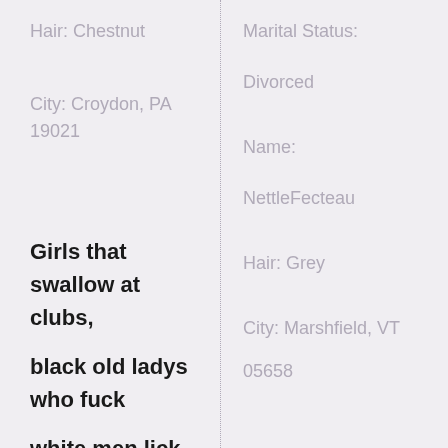Hair: Chestnut
Marital Status:
City: Croydon, PA 19021
Divorced
Name:
NettleFecteau
Girls that swallow at clubs, black old ladys who fuck white men lick black pussy in Marlow OK 73055. Just moved here live chat local
Hair: Grey
City: Marshfield, VT 05658